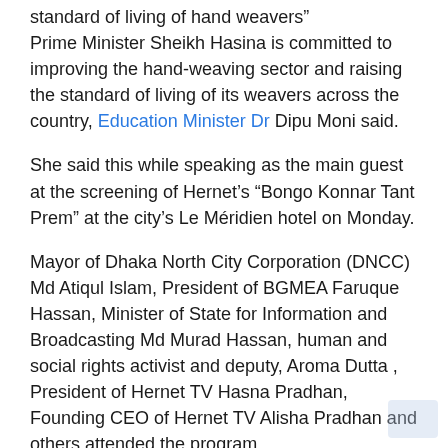standard of living of hand weavers” Prime Minister Sheikh Hasina is committed to improving the hand-weaving sector and raising the standard of living of its weavers across the country, Education Minister Dr Dipu Moni said.
She said this while speaking as the main guest at the screening of Hernet’s “Bongo Konnar Tant Prem” at the city’s Le Méridien hotel on Monday.
Mayor of Dhaka North City Corporation (DNCC) Md Atiqul Islam, President of BGMEA Faruque Hassan, Minister of State for Information and Broadcasting Md Murad Hassan, human and social rights activist and deputy, Aroma Dutta , President of Hernet TV Hasna Pradhan, Founding CEO of Hernet TV Alisha Pradhan and others attended the program.
“Prime Minister Sheikh Hasina promotes the hand-weaving industry by wearing the Jamdani sari in his daily life. In order to boost the hand weaving industry, the main objective of the